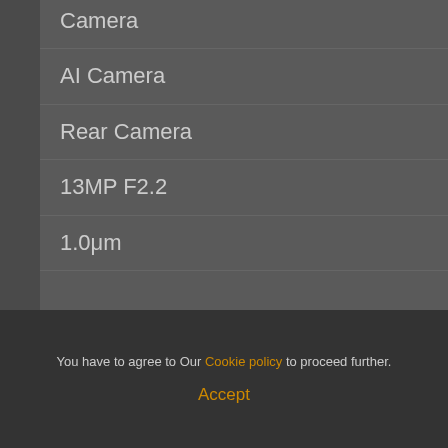Camera
AI Camera
Rear Camera
13MP F2.2
1.0μm
You have to agree to Our Cookie policy to proceed further.
Accept